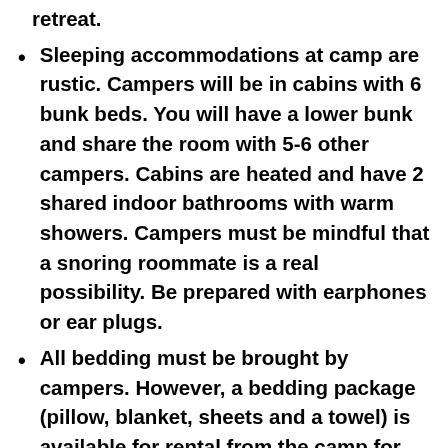retreat.
Sleeping accommodations at camp are rustic. Campers will be in cabins with 6 bunk beds. You will have a lower bunk and share the room with 5-6 other campers. Cabins are heated and have 2 shared indoor bathrooms with warm showers. Campers must be mindful that a snoring roommate is a real possibility. Be prepared with earphones or ear plugs.
All bedding must be brought by campers. However, a bedding package (pillow, blanket, sheets and a towel) is available for rental from the camp for $25. Bedding reservations must be made and paid for three weeks prior to the retreat.
The registration form must be filled out online. This helps us to know more about you and any